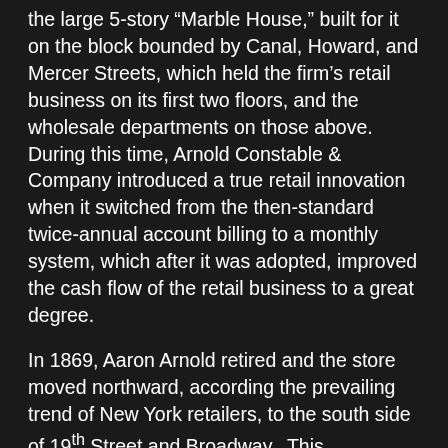the large 5-story “Marble House,” built for it on the block bounded by Canal, Howard, and Mercer Streets, which held the firm’s retail business on its first two floors, and the wholesale departments on those above. During this time, Arnold Constable & Company introduced a true retail innovation when it switched from the then-standard twice-annual account billing to a monthly system, which after it was adopted, improved the cash flow of the retail business to a great degree.
In 1869, Aaron Arnold retired and the store moved northward, according the prevailing trend of New York retailers, to the south side of 19th Street and Broadway. This $400,000.00 “Palace of Trade” as it was known, was extolled upon its opening by the New York Times as “the largest, most commodious, and best lighted stores to be found in the city.” Two floors were added in 1873, when the building acquired its elegant French-style mansard attic. The store extended through the whole block in 1877, giving Arnold Constable a presence on Fifth Avenue for the first time. After the 1869 opening of the 19th Street store, the